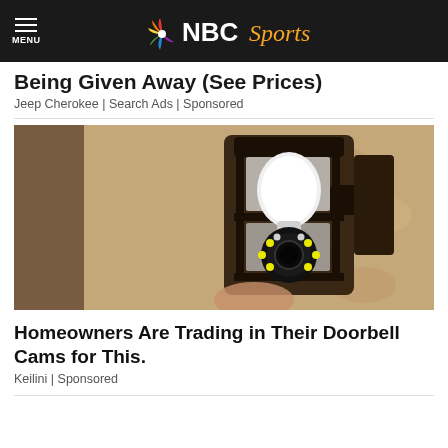MENU | NBC Sports
Being Given Away (See Prices)
Jeep Cherokee | Search Ads | Sponsored
[Figure (photo): A close-up photo of a light bulb security camera mounted inside a black outdoor lantern fixture attached to a textured stone/stucco wall.]
Homeowners Are Trading in Their Doorbell Cams for This.
Keilini | Sponsored